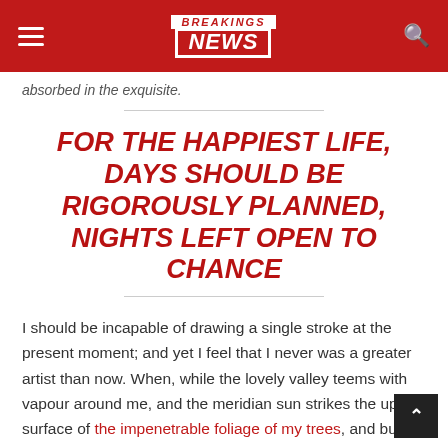BREAKINGS NEWS
absorbed in the exquisite.
FOR THE HAPPIEST LIFE, DAYS SHOULD BE RIGOROUSLY PLANNED, NIGHTS LEFT OPEN TO CHANCE
I should be incapable of drawing a single stroke at the present moment; and yet I feel that I never was a greater artist than now. When, while the lovely valley teems with vapour around me, and the meridian sun strikes the upper surface of the impenetrable foliage of my trees, and but few stray gleams steal into the inner sanctuary, I throw myself down among the tall grass by the trickling stream;